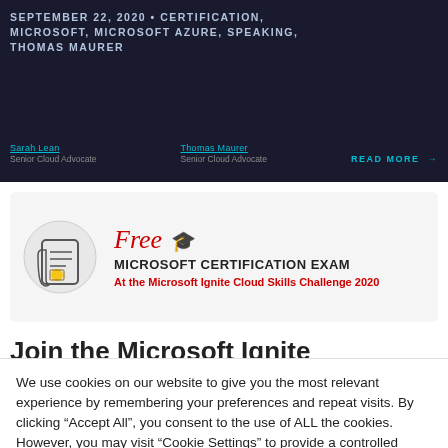[Figure (screenshot): Dark banner with blog post metadata tags and author credits for a Microsoft certification article dated September 22, 2020]
[Figure (infographic): Promotional banner for Free Microsoft Certification Exam at the Microsoft Ignite Cloud Skills Challenge 2020, featuring a scroll icon and graduation cap emoji]
Join the Microsoft Ignite
We use cookies on our website to give you the most relevant experience by remembering your preferences and repeat visits. By clicking “Accept All”, you consent to the use of ALL the cookies. However, you may visit “Cookie Settings” to provide a controlled consent.